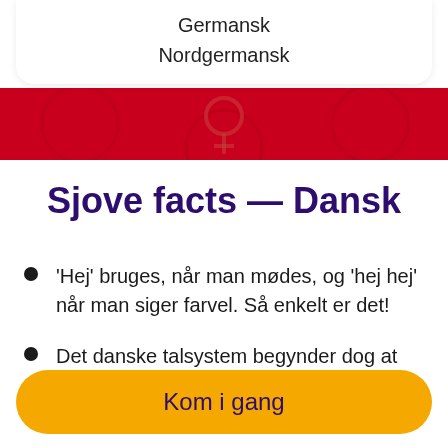Germansk
Nordgermansk
Sjove facts — Dansk
'Hej' bruges, når man mødes, og 'hej hej' når man siger farvel. Så enkelt er det!
Det danske talsystem begynder dog at blive svært, når man når til 50, eftersom
Kom i gang